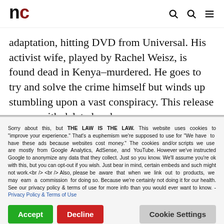nc
adaptation, hitting DVD from Universal. His activist wife, played by Rachel Weisz, is found dead in Kenya–murdered. He goes to try and solve the crime himself but winds up stumbling upon a vast conspiracy. This release comes with deleted and
Sorry about this, but THE LAW IS THE LAW. This website uses cookies to "improve your experience." That's a euphemism we're supposed to use for "We have to have these ads because websites cost money." The cookies and/or scripts we use are mostly from Google Analytics, AdSense, and YouTube. However we've instructed Google to anonymize any data that they collect. Just so you know. We'll assume you're ok with this, but you can opt-out if you wish. Just bear in mind, certain embeds and such might not work.<br /> <br /> Also, please be aware that when we link out to products, we may earn a commission for doing so. Because we're certainly not doing it for our health. See our privacy policy & terms of use for more info than you would ever want to know. - Privacy Policy & Terms of Use